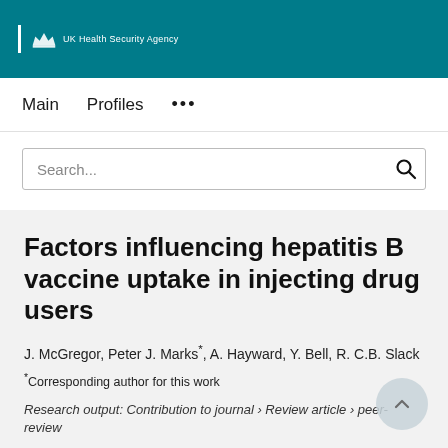UK Health Security Agency
Main   Profiles   ...
Factors influencing hepatitis B vaccine uptake in injecting drug users
J. McGregor, Peter J. Marks*, A. Hayward, Y. Bell, R. C.B. Slack
*Corresponding author for this work
Research output: Contribution to journal › Review article › peer-review